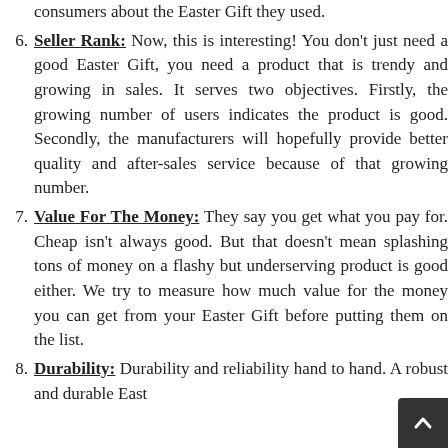consumers about the Easter Gift they used.
6. Seller Rank: Now, this is interesting! You don't just need a good Easter Gift, you need a product that is trendy and growing in sales. It serves two objectives. Firstly, the growing number of users indicates the product is good. Secondly, the manufacturers will hopefully provide better quality and after-sales service because of that growing number.
7. Value For The Money: They say you get what you pay for. Cheap isn't always good. But that doesn't mean splashing tons of money on a flashy but underserving product is good either. We try to measure how much value for the money you can get from your Easter Gift before putting them on the list.
8. Durability: Durability and reliability hand to hand. A robust and durable East